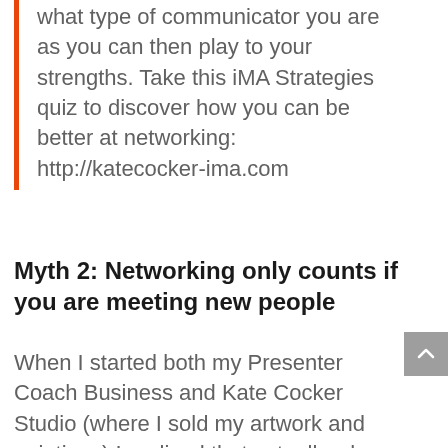what type of communicator you are as you can then play to your strengths. Take this iMA Strategies quiz to discover how you can be better at networking: http://katecocker-ima.com
Myth 2: Networking only counts if you are meeting new people
When I started both my Presenter Coach Business and Kate Cocker Studio (where I sold my artwork and paintings) I realised that actually where the connections start, are with the people you know. Friends would be the first to buy my paintings, and I still get Presenter Coach